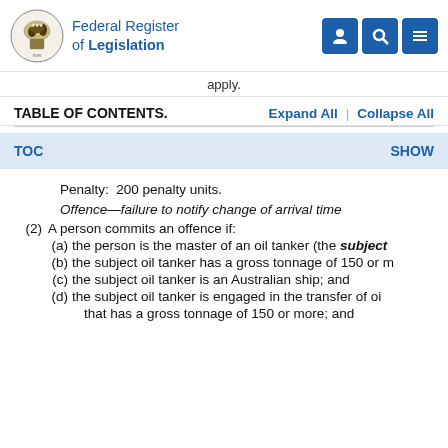Federal Register of Legislation
apply.
TABLE OF CONTENTS.   Expand All  |  Collapse All
TOC   SHOW
Penalty:  200 penalty units.
Offence—failure to notify change of arrival time
(2)  A person commits an offence if:
(a)  the person is the master of an oil tanker (the subject
(b)  the subject oil tanker has a gross tonnage of 150 or m
(c)  the subject oil tanker is an Australian ship; and
(d)  the subject oil tanker is engaged in the transfer of oi
that has a gross tonnage of 150 or more; and